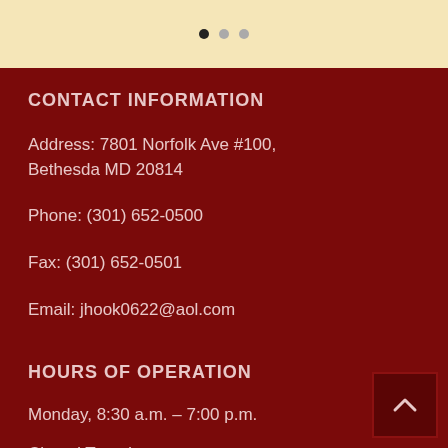[Figure (other): Carousel/slider dots navigation: three dots, first one filled/active, other two lighter]
CONTACT INFORMATION
Address: 7801 Norfolk Ave #100, Bethesda MD 20814
Phone: (301) 652-0500
Fax: (301) 652-0501
Email: jhook0622@aol.com
HOURS OF OPERATION
Monday, 8:30 a.m. – 7:00 p.m.
Closed Tuesday